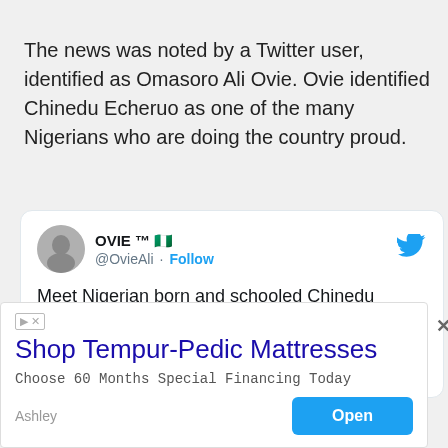The news was noted by a Twitter user, identified as Omasoro Ali Ovie. Ovie identified Chinedu Echeruo as one of the many Nigerians who are doing the country proud.
[Figure (screenshot): Embedded tweet from @OvieAli (OVIE TM with Nigerian flag emoji) with Follow button and Twitter bird icon. Tweet text: Meet Nigerian born and schooled Chinedu Echeruo. He eventually went to Harvard where he built HotStop.com for 300US cities to find direction in subway stations. Apple bought the...]
[Figure (screenshot): Advertisement overlay: Shop Tempur-Pedic Mattresses. Choose 60 Months Special Financing Today. Ashley. Open button.]